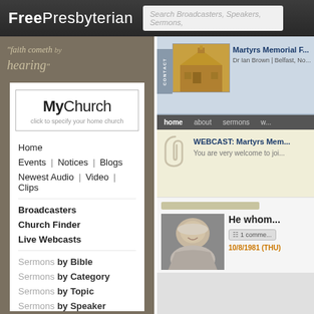FreePresbyterian — Search Broadcasters, Speakers, Sermons,
[Figure (screenshot): MyChurch logo box with text 'click to specify your home church']
Home
Events | Notices | Blogs
Newest Audio | Video | Clips
Broadcasters
Church Finder
Live Webcasts
Sermons by Bible
Sermons by Category
Sermons by Topic
Sermons by Speaker
[Figure (screenshot): Martyrs Memorial Free Presbyterian Church page showing Dr Ian Brown, Belfast, Northern Ireland. Navigation tabs: home, about, sermons, w... Webcast section: 'WEBCAST: Martyrs Mem...' and 'You are very welcome to joi...' Sermon entry: 'He whom' with 1 comment badge and date 10/8/1981 (THU). Photo of elderly man.]